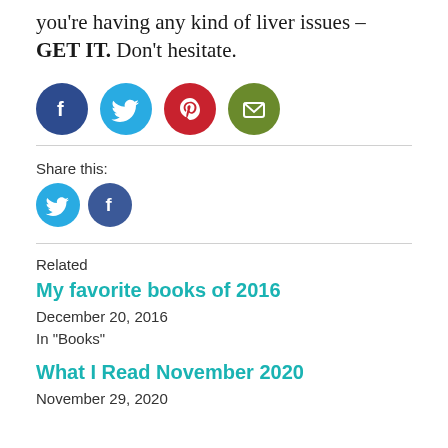you're having any kind of liver issues – GET IT. Don't hesitate.
[Figure (infographic): Four social sharing icon circles in a row: Facebook (dark blue), Twitter (light blue), Pinterest (red), Email (olive green), with a horizontal rule below them.]
Share this:
[Figure (infographic): Two social sharing icon circles: Twitter (light blue) and Facebook (blue).]
Related
My favorite books of 2016
December 20, 2016
In "Books"
What I Read November 2020
November 29, 2020